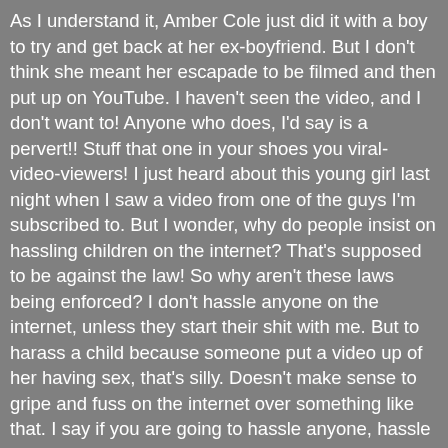As I understand it, Amber Cole just did it with a boy to try and get back at her ex-boyfriend. But I don't think she meant her escapade to be filmed and then put up on YouTube. I haven't seen the video, and I don't want to! Anyone who does, I'd say is a pervert!! Stuff that one in your shoes you viral-video-viewers! I just heard about this young girl last night when I saw a video from one of the guys I'm subscribed to. But I wonder, why do people insist on hassling children on the internet? That's supposed to be against the law! So why aren't these laws being enforced? I don't hassle anyone on the internet, unless they start their shit with me. But to harass a child because someone put a video up of her having sex, that's silly. Doesn't make sense to gripe and fuss on the internet over something like that. I say if you are going to hassle anyone, hassle the kid who took the video and posted it on the internet without that girl's consent. Hassle the parents for not raising their kid up right. Don't blame the child for that, she doesn't know any better! Parents today are just not teaching kids any sense of moral values. How can they? I believe this is a sad commentary to our struggling economy. Parents cannot teach their kids, they have to work. And once they re-orient to home they are too tired. Not only do t